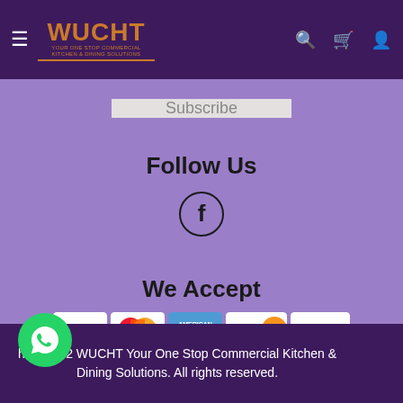WUCHT (navigation bar with logo, hamburger menu, search, cart, and user icons)
[Figure (other): Input field (subscribe email bar)]
Subscribe
Follow Us
[Figure (illustration): Facebook icon in a circle]
We Accept
[Figure (illustration): Payment method logos: VISA, MasterCard, American Express, DISCOVER, PayPal]
ht © 2022 WUCHT Your One Stop Commercial Kitchen & Dining Solutions. All rights reserved.
[Figure (illustration): WhatsApp chat button (green circle with phone icon)]